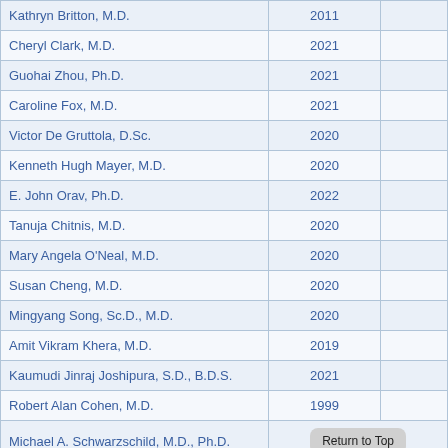| Name | Year |  |
| --- | --- | --- |
| Kathryn Britton, M.D. | 2011 |  |
| Cheryl Clark, M.D. | 2021 |  |
| Guohai Zhou, Ph.D. | 2021 |  |
| Caroline Fox, M.D. | 2021 |  |
| Victor De Gruttola, D.Sc. | 2020 |  |
| Kenneth Hugh Mayer, M.D. | 2020 |  |
| E. John Orav, Ph.D. | 2022 |  |
| Tanuja Chitnis, M.D. | 2020 |  |
| Mary Angela O'Neal, M.D. | 2020 |  |
| Susan Cheng, M.D. | 2020 |  |
| Mingyang Song, Sc.D., M.D. | 2020 |  |
| Amit Vikram Khera, M.D. | 2019 |  |
| Kaumudi Jinraj Joshipura, S.D., B.D.S. | 2021 |  |
| Robert Alan Cohen, M.D. | 1999 |  |
| Michael A. Schwarzschild, M.D., Ph.D. |  | Return to Top |
| Jayson C Carr, M.D. |  |  |
| Tala Al-Rousan, M.D. | 2018 |  |